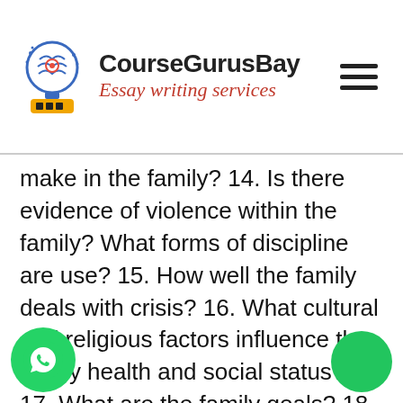CourseGurusBay — Essay writing services
make in the family? 14. Is there evidence of violence within the family? What forms of discipline are use? 15. How well the family deals with crisis? 16. What cultural and religious factors influence the family health and social status? 17. What are the family goals? 18. Identify any external or internal sources of support that are available? 19. Is there evidence of role conflict? Role overload? 20. he family have an emergency plan to deal with